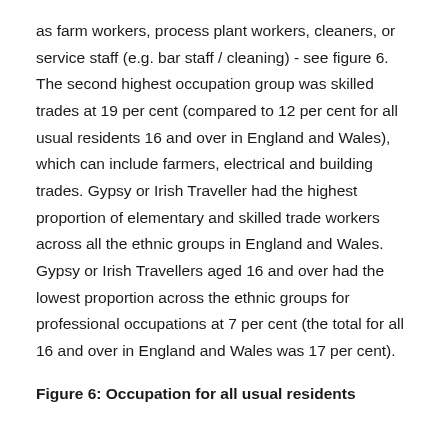as farm workers, process plant workers, cleaners, or service staff (e.g. bar staff / cleaning) - see figure 6. The second highest occupation group was skilled trades at 19 per cent (compared to 12 per cent for all usual residents 16 and over in England and Wales), which can include farmers, electrical and building trades. Gypsy or Irish Traveller had the highest proportion of elementary and skilled trade workers across all the ethnic groups in England and Wales. Gypsy or Irish Travellers aged 16 and over had the lowest proportion across the ethnic groups for professional occupations at 7 per cent (the total for all 16 and over in England and Wales was 17 per cent).
Figure 6: Occupation for all usual residents